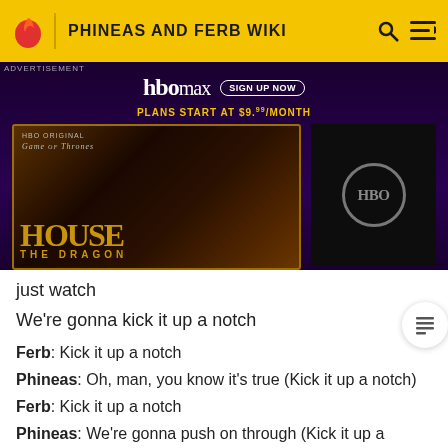PHINEAS AND FERB WIKI
[Figure (screenshot): HBO Max advertisement banner featuring House of the Dragon promotional image on the left and HBO logo on the right. Top bar shows 'hbomax SIGN UP NOW' and 'PLANS START AT $9.99/MONTH']
just watch
We're gonna kick it up a notch
Ferb: Kick it up a notch
Phineas: Oh, man, you know it's true (Kick it up a notch)
Ferb: Kick it up a notch
Phineas: We're gonna push on through (Kick it up a notch)
Ferb: Kick it up a notch
Phineas: We're not content to go with the flow (Kick it up a notch)